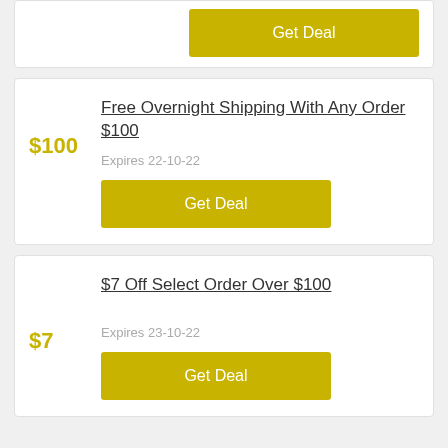[Figure (screenshot): Partial deal card with a 'Get Deal' yellow button visible at the top]
Free Overnight Shipping With Any Order $100
$100
Expires 22-10-22
Get Deal
$7 Off Select Order Over $100
$7
Expires 23-10-22
Get Deal